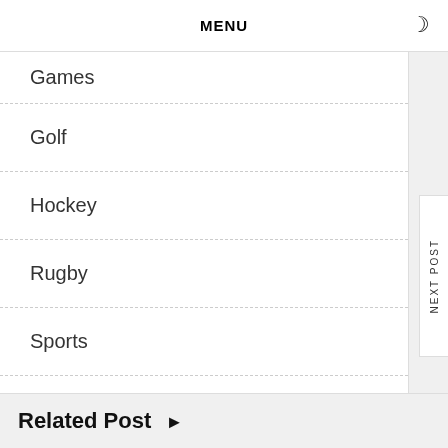MENU
Games
Golf
Hockey
Rugby
Sports
Tennis
NEXT POST
Related Post ▶